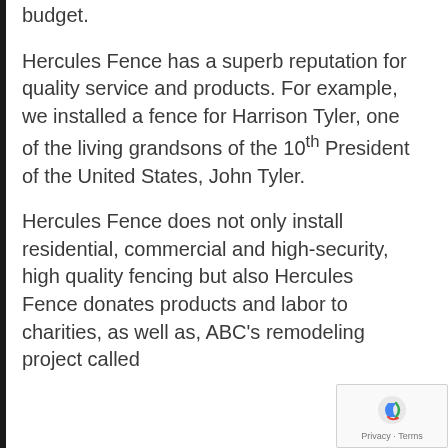budget.
Hercules Fence has a superb reputation for quality service and products. For example, we installed a fence for Harrison Tyler, one of the living grandsons of the 10th President of the United States, John Tyler.
Hercules Fence does not only install residential, commercial and high-security, high quality fencing but also Hercules Fence donates products and labor to charities, as well as, ABC's remodeling project called